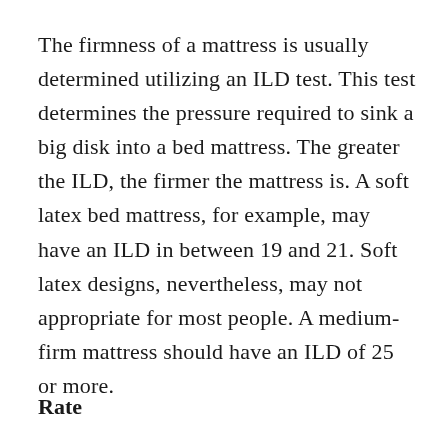The firmness of a mattress is usually determined utilizing an ILD test. This test determines the pressure required to sink a big disk into a bed mattress. The greater the ILD, the firmer the mattress is. A soft latex bed mattress, for example, may have an ILD in between 19 and 21. Soft latex designs, nevertheless, may not appropriate for most people. A medium-firm mattress should have an ILD of 25 or more.
Rate